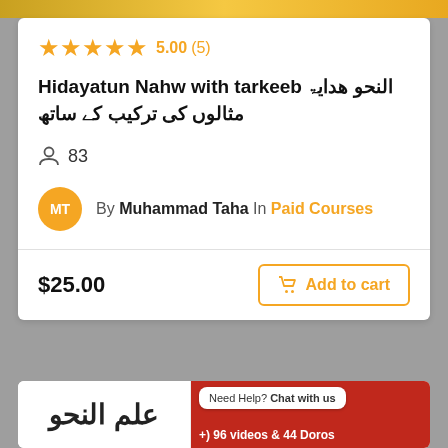[Figure (screenshot): Top yellow/orange banner strip at top of page]
5.00 (5) — 5 star rating
Hidayatun Nahw with tarkeeb النحو هدایۃ مثالوں کی ترکیب کے ساتھ
83 students enrolled
By Muhammad Taha In Paid Courses
$25.00
Add to cart
[Figure (screenshot): Bottom card with Arabic calligraphy علم النحو on left, red background on right with chat bubble 'Need Help? Chat with us', WhatsApp green button, and text '96 videos & 44 Doros']